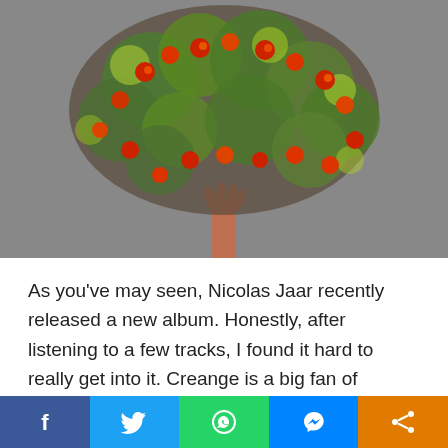[Figure (illustration): A colorful illustration of a fruit tree (likely pomegranate) with red fruits and green/yellow foliage against a gray background, with a hand reaching up from the trunk.]
As you’ve may seen, Nicolas Jaar recently released a new album. Honestly, after listening to a few tracks, I found it hard to really get into it. Creange is a big fan of Nicolas Jaar, admiring his ability to create “singular and
[Figure (infographic): Social media sharing bar with Facebook, Twitter, WhatsApp, Messenger, and Share buttons.]